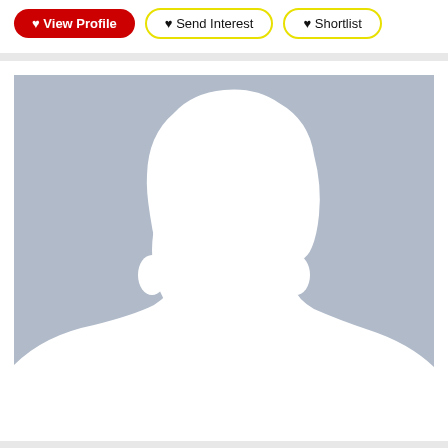[Figure (other): Action buttons row: red 'View Profile' button, yellow-bordered 'Send Interest' button, yellow-bordered 'Shortlist' button]
[Figure (photo): Default male silhouette placeholder profile photo on a grey-blue background]